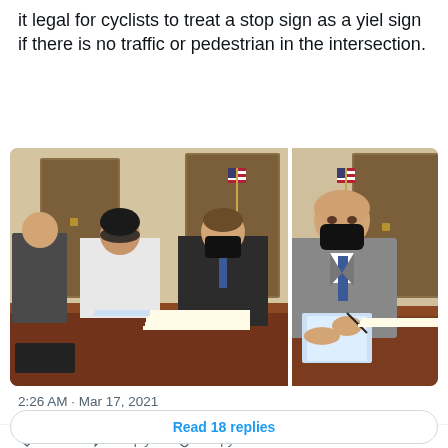it legal for cyclists to treat a stop sign as a yield sign if there is no traffic or pedestrian in the intersection.
[Figure (photo): Two side-by-side photos showing people in masks sitting at a conference table in what appears to be a government office, with an American flag visible. The right photo shows a man in a suit and mask holding documents.]
2:26 AM · Mar 17, 2021
185   Reply   Copy link
Read 18 replies